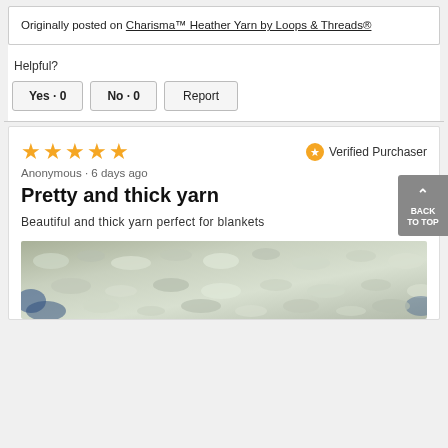Originally posted on Charisma™ Heather Yarn by Loops & Threads®
Helpful?
Yes · 0   No · 0   Report
★★★★★   Verified Purchaser
Anonymous · 6 days ago
Pretty and thick yarn
Beautiful and thick yarn perfect for blankets
[Figure (photo): Close-up photo of thick heathered yarn crocheted into a blanket, showing white/gray and blue colors]